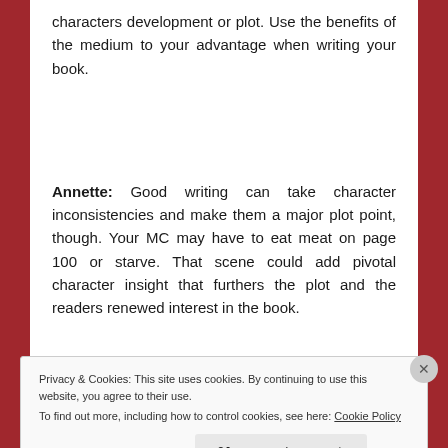characters development or plot. Use the benefits of the medium to your advantage when writing your book.
Annette: Good writing can take character inconsistencies and make them a major plot point, though. Your MC may have to eat meat on page 100 or starve. That scene could add pivotal character insight that furthers the plot and the readers renewed interest in the book.
Privacy & Cookies: This site uses cookies. By continuing to use this website, you agree to their use. To find out more, including how to control cookies, see here: Cookie Policy